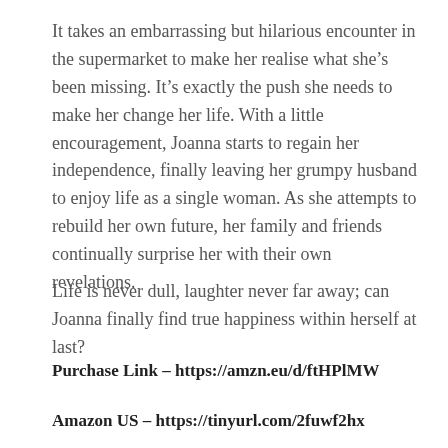It takes an embarrassing but hilarious encounter in the supermarket to make her realise what she’s been missing. It’s exactly the push she needs to make her change her life. With a little encouragement, Joanna starts to regain her independence, finally leaving her grumpy husband to enjoy life as a single woman. As she attempts to rebuild her own future, her family and friends continually surprise her with their own revelations.
Life is never dull, laughter never far away; can Joanna finally find true happiness within herself at last?
Purchase Link – https://amzn.eu/d/ftHPlMW
Amazon US – https://tinyurl.com/2fuwf2hx